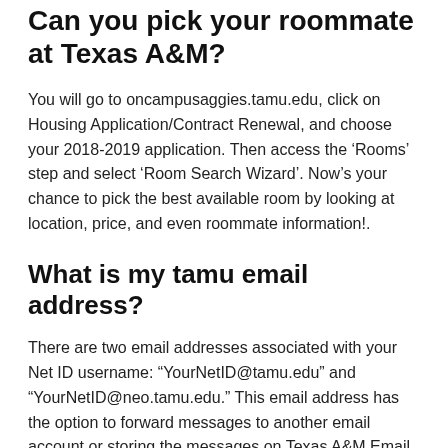Can you pick your roommate at Texas A&M?
You will go to oncampusaggies.tamu.edu, click on Housing Application/Contract Renewal, and choose your 2018-2019 application. Then access the ‘Rooms’ step and select ‘Room Search Wizard’. Now’s your chance to pick the best available room by looking at location, price, and even roommate information!.
What is my tamu email address?
There are two email addresses associated with your Net ID username: “YourNetID@tamu.edu” and “YourNetID@neo.tamu.edu.” This email address has the option to forward messages to another email account or storing the messages on Texas A&M Email (Neo) or